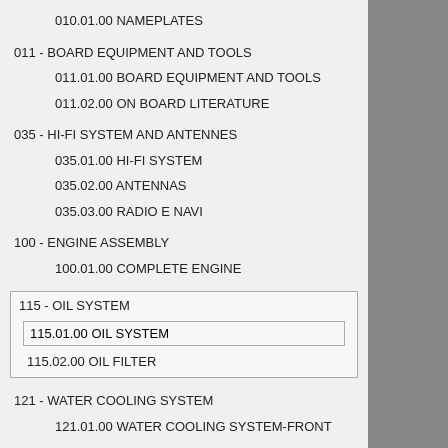010.01.00 NAMEPLATES
011 - BOARD EQUIPMENT AND TOOLS
011.01.00 BOARD EQUIPMENT AND TOOLS
011.02.00 ON BOARD LITERATURE
035 - HI-FI SYSTEM AND ANTENNES
035.01.00 HI-FI SYSTEM
035.02.00 ANTENNAS
035.03.00 RADIO E NAVI
100 - ENGINE ASSEMBLY
100.01.00 COMPLETE ENGINE
115 - OIL SYSTEM
115.01.00 OIL SYSTEM
115.02.00 OIL FILTER
121 - WATER COOLING SYSTEM
121.01.00 WATER COOLING SYSTEM-FRONT
2015
Please you m